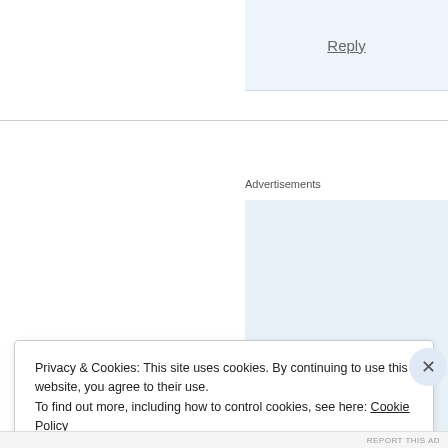Reply
Advertisements
[Figure (infographic): WordPress app advertisement banner with text 'Build a writing habit. Post on the go.' and a 'GET THE APP' call-to-action button, with WordPress logo.]
Privacy & Cookies: This site uses cookies. By continuing to use this website, you agree to their use.
To find out more, including how to control cookies, see here: Cookie Policy
Close and accept
REPORT THIS AD